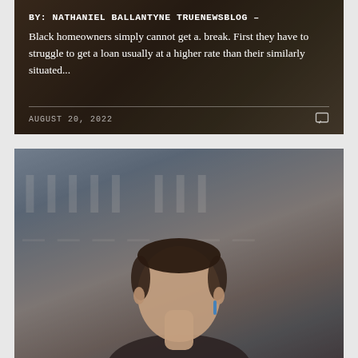[Figure (photo): Top card with dark brownish background and overlay text showing a blog article byline, excerpt about Black homeowners and home loans, date, and comment icon]
BY: NATHANIEL BALLANTYNE TRUENEWSBLOG – Black homeowners simply cannot get a. break. First they have to struggle to get a loan usually at a higher rate than their similarly situated...
AUGUST 20, 2022
[Figure (photo): Photo of a man with dark hair, seen from shoulders up, with a blurred architectural background with large lettering]